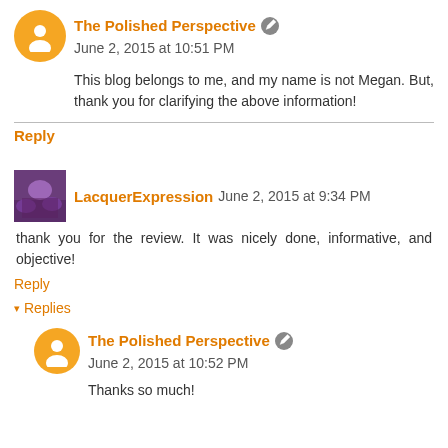The Polished Perspective  June 2, 2015 at 10:51 PM
This blog belongs to me, and my name is not Megan. But, thank you for clarifying the above information!
Reply
LacquerExpression  June 2, 2015 at 9:34 PM
thank you for the review. It was nicely done, informative, and objective!
Reply
Replies
The Polished Perspective  June 2, 2015 at 10:52 PM
Thanks so much!